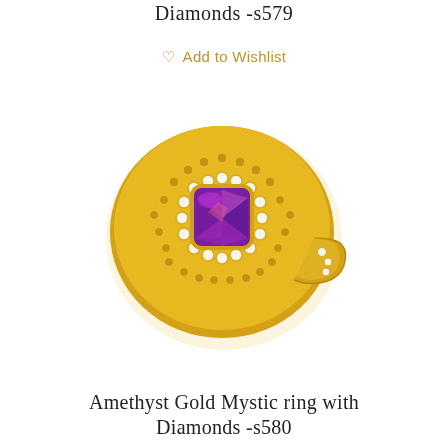Diamonds -s579
♡ Add to Wishlist
[Figure (photo): Amethyst Gold Mystic ring with large cushion-cut purple amethyst center stone surrounded by a gold beaded halo with diamond accents, set in yellow gold band.]
Amethyst Gold Mystic ring with Diamonds -s580